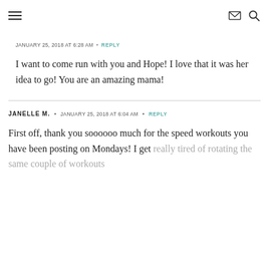Navigation header with hamburger menu, envelope icon, and search icon
JANUARY 25, 2018 AT 6:28 AM • REPLY
I want to come run with you and Hope! I love that it was her idea to go! You are an amazing mama!
JANELLE M. • JANUARY 25, 2018 AT 6:04 AM • REPLY
First off, thank you soooooo much for the speed workouts you have been posting on Mondays! I get really tired of rotating the same couple of workouts